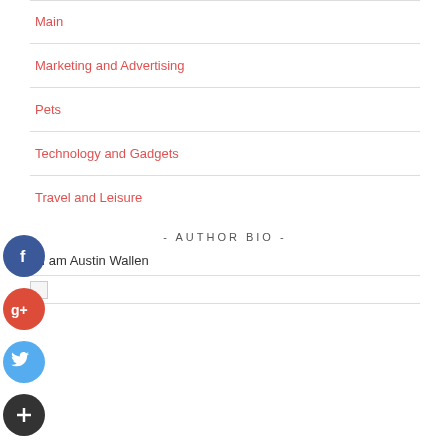Main
Marketing and Advertising
Pets
Technology and Gadgets
Travel and Leisure
- AUTHOR BIO -
i I am Austin Wallen
[Figure (other): Broken image thumbnail]
[Figure (other): Facebook social share button - circular blue icon with white F]
[Figure (other): Google Plus social share button - circular red icon with white g+]
[Figure (other): Twitter social share button - circular blue icon with white bird]
[Figure (other): Add/Plus social share button - circular dark icon with white plus sign]